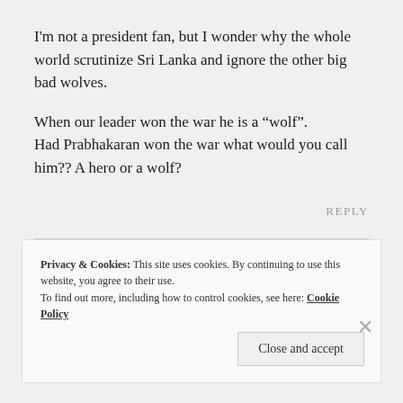I'm not a president fan, but I wonder why the whole world scrutinize Sri Lanka and ignore the other big bad wolves.
When our leader won the war he is a “wolf”. Had Prabhakaran won the war what would you call him?? A hero or a wolf?
REPLY
Privacy & Cookies: This site uses cookies. By continuing to use this website, you agree to their use. To find out more, including how to control cookies, see here: Cookie Policy